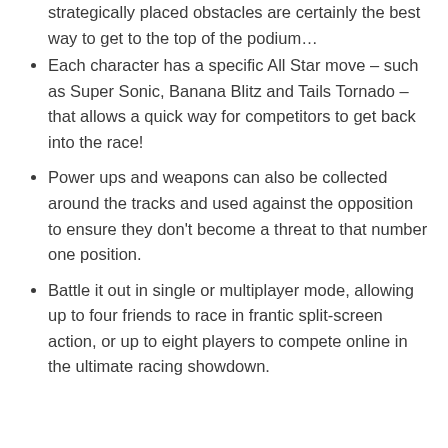strategically placed obstacles are certainly the best way to get to the top of the podium…
Each character has a specific All Star move – such as Super Sonic, Banana Blitz and Tails Tornado – that allows a quick way for competitors to get back into the race!
Power ups and weapons can also be collected around the tracks and used against the opposition to ensure they don't become a threat to that number one position.
Battle it out in single or multiplayer mode, allowing up to four friends to race in frantic split-screen action, or up to eight players to compete online in the ultimate racing showdown.